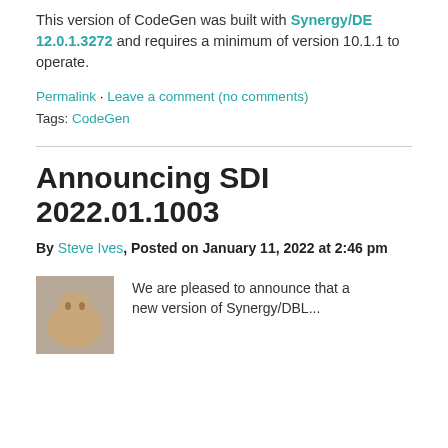This version of CodeGen was built with Synergy/DE 12.0.1.3272 and requires a minimum of version 10.1.1 to operate.
Permalink · Leave a comment (no comments)
Tags: CodeGen
Announcing SDI 2022.01.1003
By Steve Ives, Posted on January 11, 2022 at 2:46 pm
We are pleased to announce that a new version of Synergy/DBL...